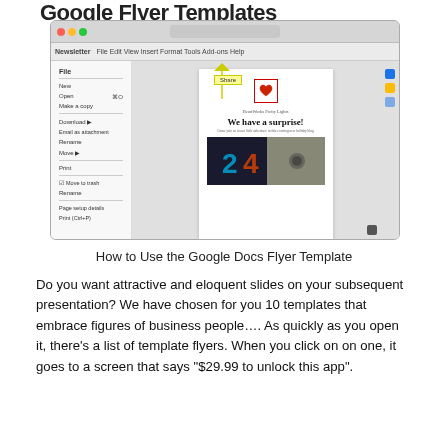Google Flyer Templates
[Figure (screenshot): Screenshot of Google Docs interface showing a newsletter flyer template with a heart image, 'We have a surprise!' headline, and a file menu open with options like New, Open, Make a copy, Download, etc. A yellow 'Share' label box is highlighted with an arrow pointing to it.]
How to Use the Google Docs Flyer Template
Do you want attractive and eloquent slides on your subsequent presentation? We have chosen for you 10 templates that embrace figures of business people…. As quickly as you open it, there's a list of template flyers. When you click on on one, it goes to a screen that says "$29.99 to unlock this app".